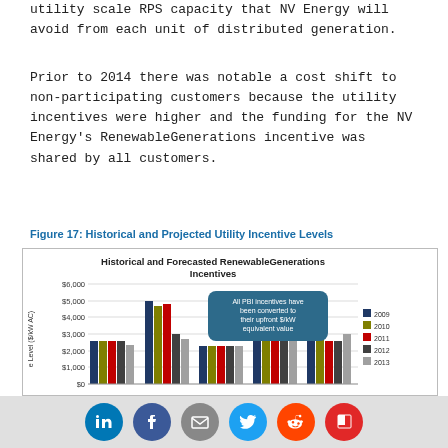utility scale NPS capacity that NV Energy will avoid from each unit of distributed generation.
Prior to 2014 there was notable a cost shift to non-participating customers because the utility incentives were higher and the funding for the NV Energy's RenewableGenerations incentive was shared by all customers.
Figure 17: Historical and Projected Utility Incentive Levels
[Figure (grouped-bar-chart): Historical and Forecasted RenewableGenerations Incentives]